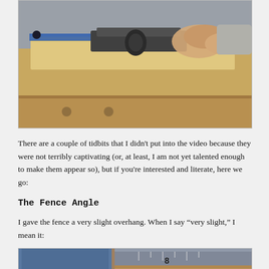[Figure (photo): Person using a hand plane on a wooden board secured to a workbench with blue clamps]
There are a couple of tidbits that I didn't put into the video because they were not terribly captivating (or, at least, I am not yet talented enough to make them appear so), but if you're interested and literate, here we go:
The Fence Angle
I gave the fence a very slight overhang. When I say “very slight,” I mean it:
[Figure (photo): Close-up photo showing fence angle with ruler/measurement tool against wood pieces]